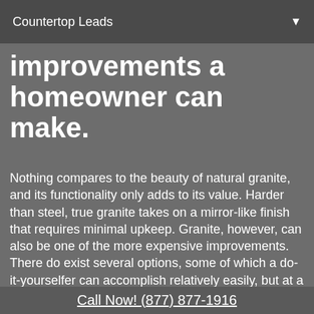Countertop Leads
improvements a homeowner can make.
Nothing compares to the beauty of natural granite, and its functionality only adds to its value. Harder than steel, true granite takes on a mirror-like finish that requires minimal upkeep. Granite, however, can also be one of the more expensive improvements. There do exist several options, some of which a do-it-yourselfer can accomplish relatively easily, but at a cost. Tile, modular and slab granite are the three options available to the homeowner. There are pros and cons to each option. Granite
Call Now! (877) 877-1916